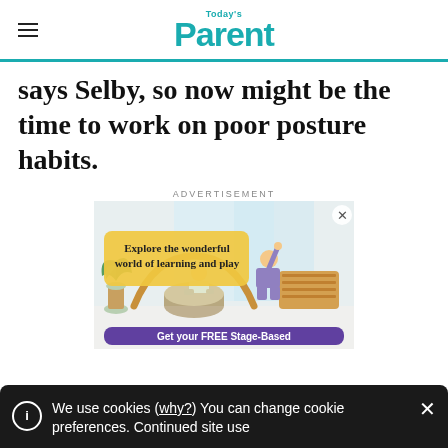Today's Parent
says Selby, so now might be the time to work on poor posture habits.
ADVERTISEMENT
[Figure (illustration): Advertisement showing two children playing on wooden Montessori-style climbing and play equipment indoors. A yellow text box reads 'Explore the wonderful world of learning and play'. A purple banner at bottom reads 'Get your FREE Stage-Based'. An X close button appears in the top right.]
We use cookies (why?) You can change cookie preferences. Continued site use